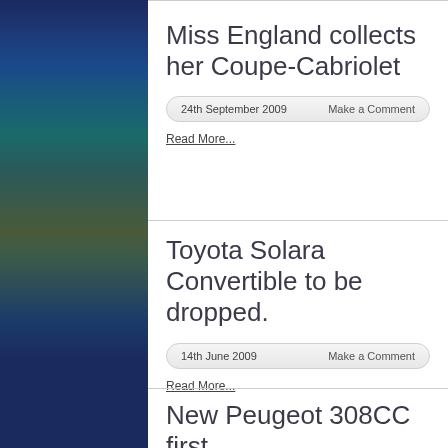Miss England collects her Coupe-Cabriolet
24th September 2009    Make a Comment
Read More...
Toyota Solara Convertible to be dropped.
14th June 2009    Make a Comment
Read More...
New Peugeot 308CC first